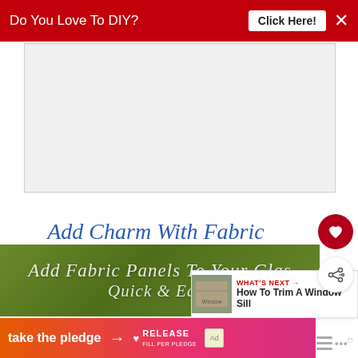[Figure (screenshot): Red top banner ad: 'Do You Love To DIY? Click Here!' with white X close button]
[Figure (screenshot): Large gray advertisement placeholder box]
Add Charm With Fabric
[Figure (screenshot): Sidebar action buttons: heart (favorite) and share]
[Figure (screenshot): What's Next panel: 'How To Trim A Window Sill' with thumbnail image]
[Figure (screenshot): Green banner image with italic text: 'Add Fabric Panels To Your Glas... Quick & Easy']
[Figure (screenshot): Bottom banner: 'take the pledge' with arrow, Release logo, ad badge, and mobile menu icon]